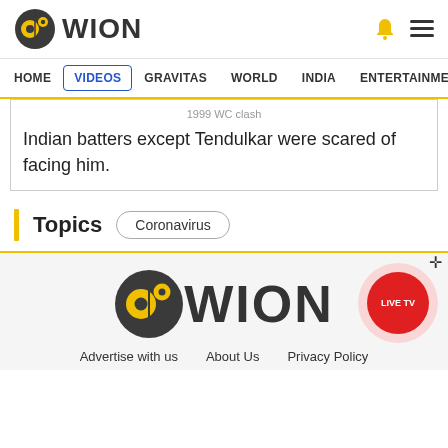WION
HOME  VIDEOS  GRAVITAS  WORLD  INDIA  ENTERTAINMENT  SPORTS
1999 WC clash
Indian batters except Tendulkar were scared of facing him.
Topics
Coronavirus
WION
Advertise with us   About Us   Privacy Policy